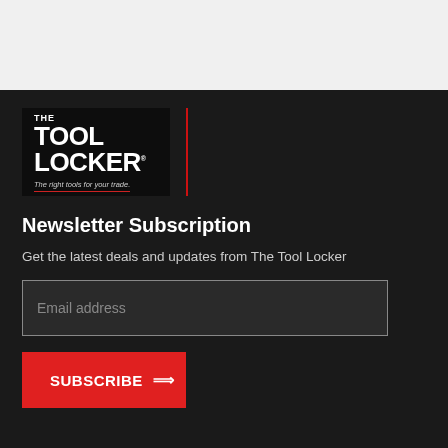[Figure (logo): The Tool Locker logo — black background with white bold text reading THE TOOL LOCKER and italic tagline 'The right tools for your trade.' with red underline. A red vertical divider line appears to the right of the logo.]
Newsletter Subscription
Get the latest deals and updates from The Tool Locker
Email address
SUBSCRIBE ⟹